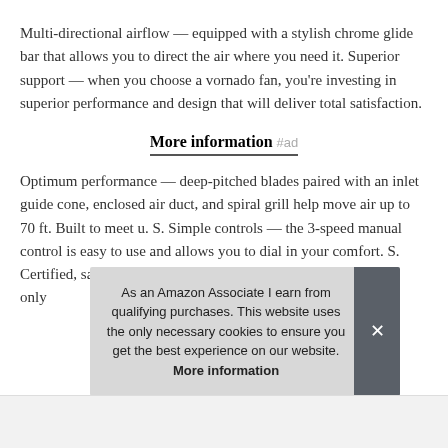Multi-directional airflow — equipped with a stylish chrome glide bar that allows you to direct the air where you need it. Superior support — when you choose a vornado fan, you're investing in superior performance and design that will deliver total satisfaction.
More information #ad
Optimum performance — deep-pitched blades paired with an inlet guide cone, enclosed air duct, and spiral grill help move air up to 70 ft. Built to meet u. S. Simple controls — the 3-speed manual control is easy to use and allows you to dial in your comfort. S. Certified, safety tested, and warrantied for use only
As an Amazon Associate I earn from qualifying purchases. This website uses the only necessary cookies to ensure you get the best experience on our website. More information